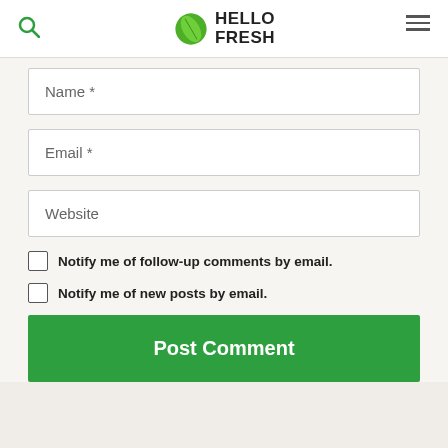HelloFresh
Name *
Email *
Website
Notify me of follow-up comments by email.
Notify me of new posts by email.
Post Comment